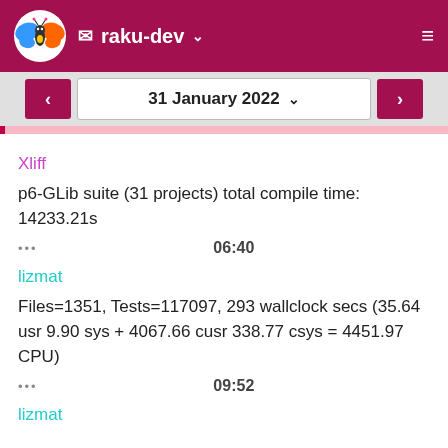raku-dev
31 January 2022
Xliff
p6-GLib suite (31 projects) total compile time: 14233.21s
••• 06:40
lizmat
Files=1351, Tests=117097, 293 wallclock secs (35.64 usr 9.90 sys + 4067.66 cusr 338.77 csys = 4451.97 CPU)
••• 09:52
lizmat